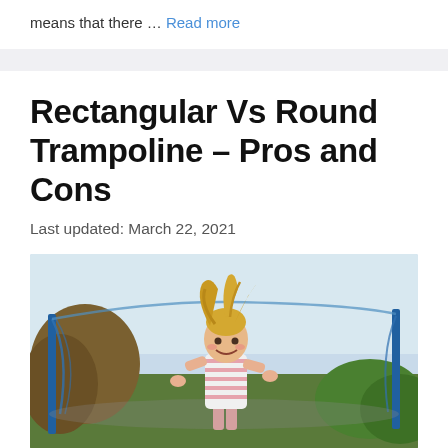means that there … Read more
Rectangular Vs Round Trampoline – Pros and Cons
Last updated: March 22, 2021
[Figure (photo): Young girl with blonde hair jumping on a trampoline outdoors, smiling, wearing a pink striped shirt, with trampoline safety net and garden greenery in the background.]